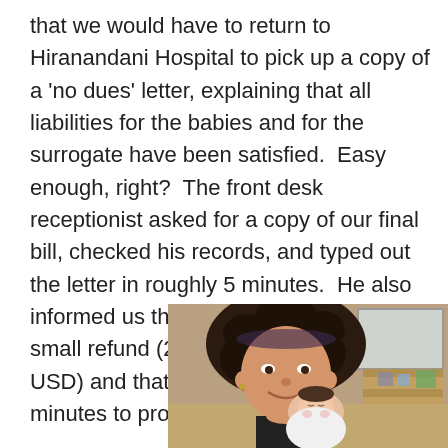that we would have to return to Hiranandani Hospital to pick up a copy of a 'no dues' letter, explaining that all liabilities for the babies and for the surrogate have been satisfied.  Easy enough, right?  The front desk receptionist asked for a copy of our final bill, checked his records, and typed out the letter in roughly 5 minutes.  He also informed us that we were eligible for a small refund (2400 INR or about $46 USD) and that it would take a few minutes to process and be r
[Figure (photo): A woman with dark curly hair smiling at the camera while holding a newborn baby against her cheek. The setting appears to be indoors, likely a hospital or home room with furniture visible in the background.]